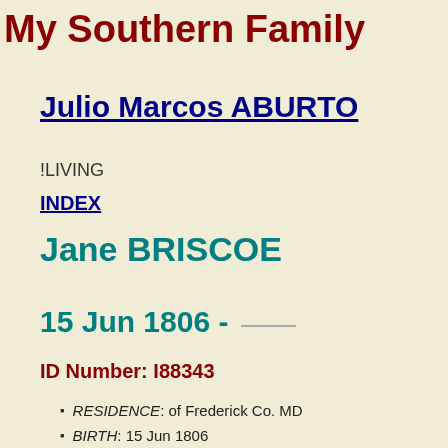My Southern Family
Julio Marcos ABURTO
!LIVING
INDEX
Jane BRISCOE
15 Jun 1806 - ____
ID Number: I88343
RESIDENCE: of Frederick Co. MD
BIRTH: 15 Jun 1806